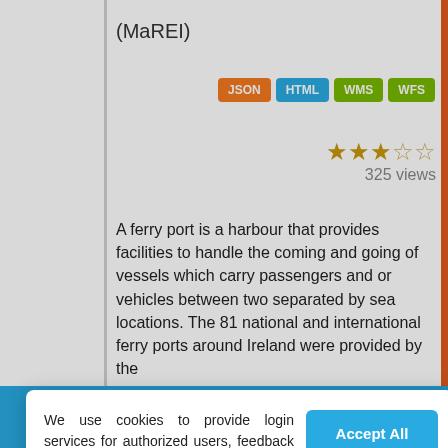(MaREI)
JSON HTML WMS WFS
★★★☆☆ 325 views
A ferry port is a harbour that provides facilities to handle the coming and going of vessels which carry passengers and or vehicles between two separated by sea locations. The 81 national and international ferry ports around Ireland were provided by the
We use cookies to provide login services for authorized users, feedback between web requests, and to record your cookie preferences
You can change your settings at any time, including withdrawing your consent, by going to the Privacy Policy page of this site.
Accept All
Reject All
Preferences
Dublin 2, Ireland.